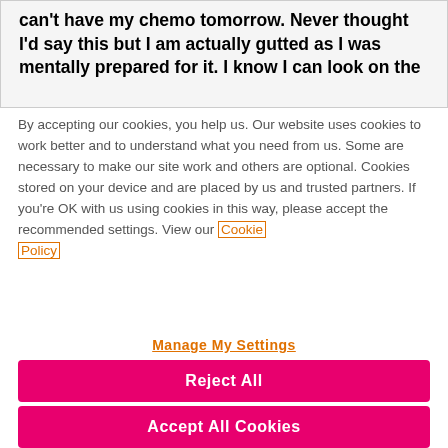can't have my chemo tomorrow. Never thought I'd say this but I am actually gutted as I was mentally prepared for it. I know I can look on the
By accepting our cookies, you help us. Our website uses cookies to work better and to understand what you need from us. Some are necessary to make our site work and others are optional. Cookies stored on your device and are placed by us and trusted partners. If you're OK with us using cookies in this way, please accept the recommended settings. View our Cookie Policy
Manage My Settings
Reject All
Accept All Cookies